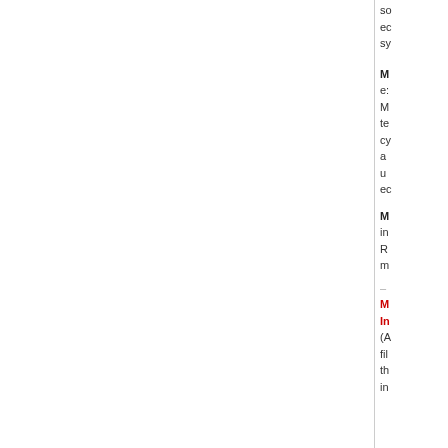so ec sy
M
e: M te cy a u ec
M in
R m
–
M In
(A fil th in